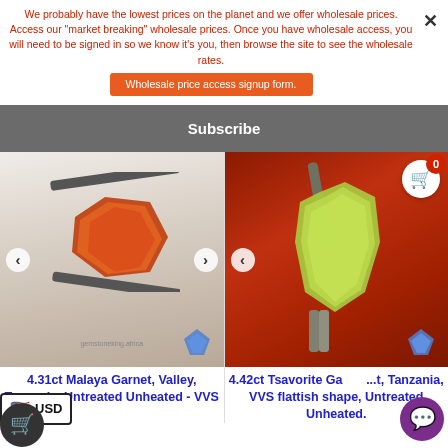We probably have the lowest prices on the planet and we offer wholesale prices. Access our "market breaking" wholesale prices. Once you have wholesale access, you will need to be signed in so we know it's you, then browse the site to see the wholesale rates.
Wholesale price access signup form.
Subscribe
[Figure (photo): Red/orange rough Malaya Garnet gemstone held by tweezers against white background, with blue diamond logo watermark]
4.31ct Malaya Garnet, Valley, Tanzania, Untreated Unheated - VVS
[Figure (photo): Yellowish-green rough Tsavorite Garnet gemstone held by tweezers against reddish-brown background, with blue diamond logo watermark]
4.42ct Tsavorite Garnet, Tanzania, VVS flattish shape, Untreated Unheated.
USD